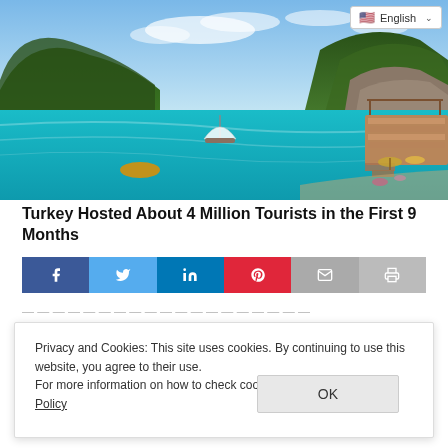[Figure (photo): Scenic turquoise bay with sailboat, rocky cliffs, and a wooden deck/pier area with beach chairs, surrounded by lush green mountains under a partly cloudy sky.]
Turkey Hosted About 4 Million Tourists in the First 9 Months
[Figure (infographic): Social share bar with Facebook, Twitter, LinkedIn, Pinterest, Email, and Print buttons]
Privacy and Cookies: This site uses cookies. By continuing to use this website, you agree to their use.
For more information on how to check cookies, see here: Cookie Policy
OK